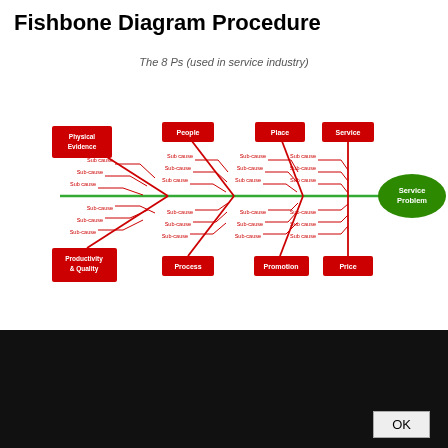Fishbone Diagram Procedure
[Figure (flowchart): Fishbone (Ishikawa) diagram showing The 8 Ps used in service industry. Top bones: Physical Evidence, People, Place, Service. Bottom bones: Productivity & Quality, Process, Promotion, Price. Each bone has three sub-cause lines. All connect to central horizontal spine leading to 'Service Problem' green ellipse on the right.]
This site uses cookies. By continuing to browse the ConceptDraw site you are agreeing to our Use of Site Cookies.